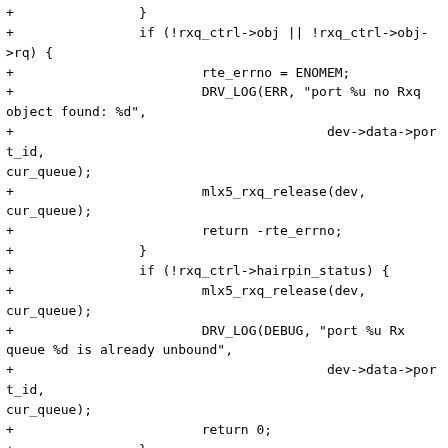+                }
+                if (!rxq_ctrl->obj || !rxq_ctrl->obj->rq) {
+                        rte_errno = ENOMEM;
+                        DRV_LOG(ERR, "port %u no Rxq object found: %d",
+                                        dev->data->port_id, cur_queue);
+                        mlx5_rxq_release(dev, cur_queue);
+                        return -rte_errno;
+                }
+                if (!rxq_ctrl->hairpin_status) {
+                        mlx5_rxq_release(dev, cur_queue);
+                        DRV_LOG(DEBUG, "port %u Rx queue %d is already unbound",
+                                        dev->data->port_id, cur_queue);
+                        return 0;
+                }
+                rq_attr.state = MLX5_SQC_STATE_RST;
+                rq_attr.rq_state = MLX5_SQC_STATE_RST;
+                ret = mlx5_devx_cmd_modify_rq(rxq_ctrl->obj->rq, &rq_attr);
+                if (ret == 0)
+                        rxq_ctrl->hairpin_status = 0;
+                mlx5_rxq_release(dev, cur_queue);
+        }
+        return ret;